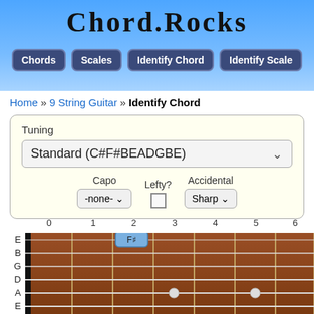Chord.Rocks
Chords | Scales | Identify Chord | Identify Scale
Home » 9 String Guitar » Identify Chord
Tuning: Standard (C#F#BEADGBE), Capo: -none-, Lefty?: unchecked, Accidental: Sharp
[Figure (illustration): Guitar fretboard showing 9 strings (E, B, G, D, A, E, B) with fret numbers 0-6. A blue marker labeled F# is at string E fret 2. White dot markers appear at string A fret 3 and string A fret 5.]